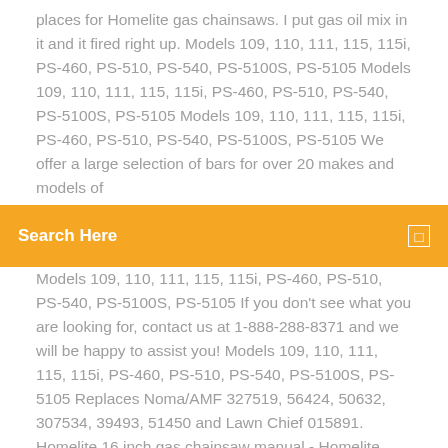places for Homelite gas chainsaws. I put gas oil mix in it and it fired right up. Models 109, 110, 111, 115, 115i, PS-460, PS-510, PS-540, PS-5100S, PS-5105 Models 109, 110, 111, 115, 115i, PS-460, PS-510, PS-540, PS-5100S, PS-5105 Models 109, 110, 111, 115, 115i, PS-460, PS-510, PS-540, PS-5100S, PS-5105 We offer a large selection of bars for over 20 makes and models of
Search Here
Models 109, 110, 111, 115, 115i, PS-460, PS-510, PS-540, PS-5100S, PS-5105 If you don't see what you are looking for, contact us at 1-888-288-8371 and we will be happy to assist you! Models 109, 110, 111, 115, 115i, PS-460, PS-510, PS-540, PS-5100S, PS-5105 Replaces Noma/AMF 327519, 56424, 50632, 307534, 39493, 51450 and Lawn Chief 015891. Homelite 16 inch gas chainsaw manual - Homelite UT10568 16-Inch Gas 38cc Chain Saw Real - Homelite 18 in. 42 cc gas Chainsaw Review HIPA 309362003 Carburetor + Primer Bulb Fuel Line Filter for Homelite Chainsaw UT10540 UT10542 UT10544 UT10546